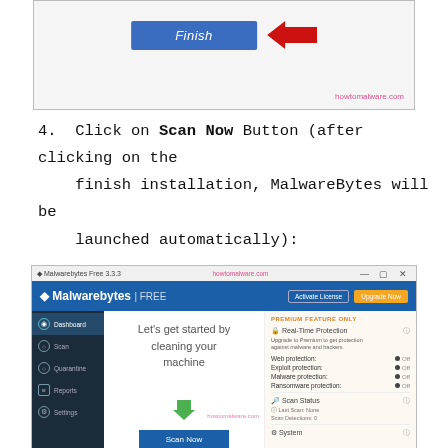[Figure (screenshot): Screenshot showing a blue 'Finish' button with a red arrow pointing to it, and watermark 'howtomalware.com']
4. Click on Scan Now Button (after clicking on the finish installation, MalwareBytes will be launched automatically):
[Figure (screenshot): Screenshot of Malwarebytes Free 3.3.3 application window showing Dashboard with 'Let's get started by cleaning your machine' text, Scan Now button, and Premium Features Only panel on the right]